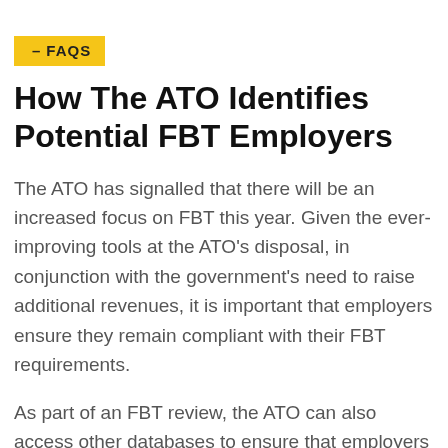— FAQS
How The ATO Identifies Potential FBT Employers
The ATO has signalled that there will be an increased focus on FBT this year. Given the ever-improving tools at the ATO's disposal, in conjunction with the government's need to raise additional revenues, it is important that employers ensure they remain compliant with their FBT requirements.
As part of an FBT review, the ATO can also access other databases to ensure that employers are